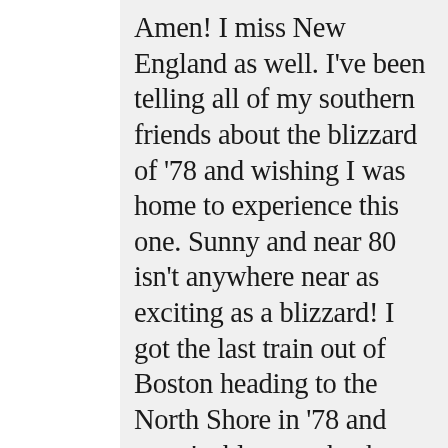Amen! I miss New England as well. I've been telling all of my southern friends about the blizzard of '78 and wishing I was home to experience this one. Sunny and near 80 isn't anywhere near as exciting as a blizzard! I got the last train out of Boston heading to the North Shore in '78 and wasn't able to go back to work for a full week because of the state of emergency. 12 foot snow banks, neighbor helping neighbor shovel out, kids making snow